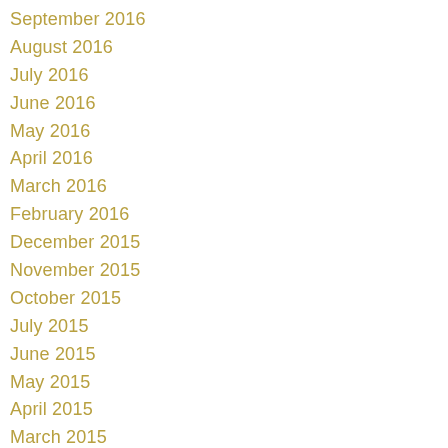September 2016
August 2016
July 2016
June 2016
May 2016
April 2016
March 2016
February 2016
December 2015
November 2015
October 2015
July 2015
June 2015
May 2015
April 2015
March 2015
February 2015
December 2014